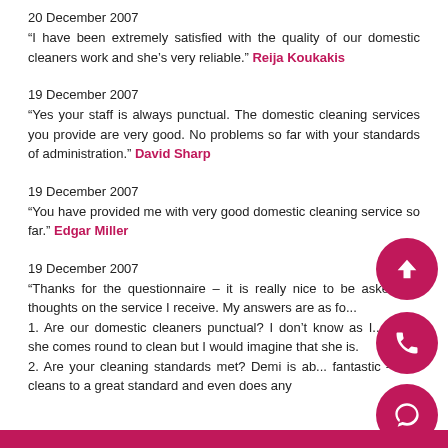20 December 2007
“I have been extremely satisfied with the quality of our domestic cleaners work and she’s very reliable.” Reija Koukakis
19 December 2007
“Yes your staff is always punctual. The domestic cleaning services you provide are very good. No problems so far with your standards of administration.” David Sharp
19 December 2007
“You have provided me with very good domestic cleaning service so far.” Edgar Miller
19 December 2007
“Thanks for the questionnaire – it is really nice to be asked my thoughts on the service I receive. My answers are as fo...
1. Are our domestic cleaners punctual? I don’t know as I... when she comes round to clean but I would imagine that she is.
2. Are your cleaning standards met? Demi is ab... fantastic – she cleans to a great standard and even does any